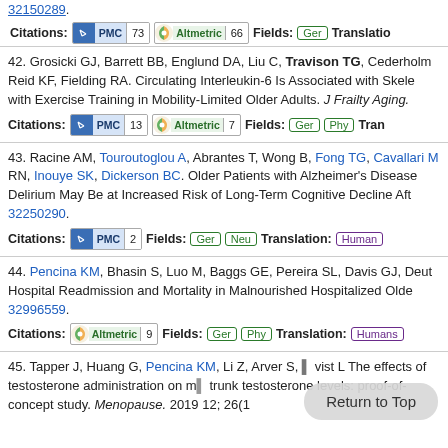32150289.
Citations: PMC 73 Altmetric 66 Fields: Ger Translation:
42. Grosicki GJ, Barrett BB, Englund DA, Liu C, Travison TG, Cederholm... Reid KF, Fielding RA. Circulating Interleukin-6 Is Associated with Skeleton... with Exercise Training in Mobility-Limited Older Adults. J Frailty Aging.
Citations: PMC 13 Altmetric 7 Fields: Ger Phy Tran
43. Racine AM, Touroutoglou A, Abrantes T, Wong B, Fong TG, Cavallari M... RN, Inouye SK, Dickerson BC. Older Patients with Alzheimer's Disease... Delirium May Be at Increased Risk of Long-Term Cognitive Decline Aft... 32250290.
Citations: PMC 2 Fields: Ger Neu Translation: Human
44. Pencina KM, Bhasin S, Luo M, Baggs GE, Pereira SL, Davis GJ, Deut... Hospital Readmission and Mortality in Malnourished Hospitalized Old... 32996559.
Citations: Altmetric 9 Fields: Ger Phy Translation: Humans
45. Tapper J, Huang G, Pencina KM, Li Z, Arver S... vist L... The effects of testosterone administration on m... trunk... testosterone levels: proof-of-concept study. Menopause. 2019 12; 26(1...